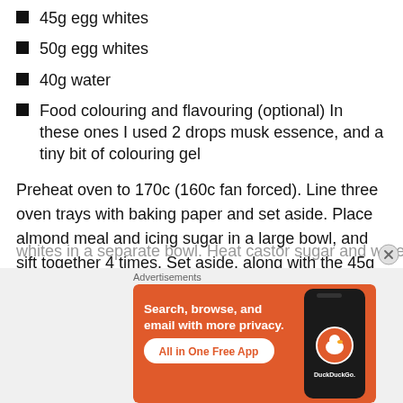45g egg whites
50g egg whites
40g water
Food colouring and flavouring (optional) In these ones I used 2 drops musk essence, and a tiny bit of colouring gel
Preheat oven to 170c (160c fan forced). Line three oven trays with baking paper and set aside. Place almond meal and icing sugar in a large bowl, and sift together 4 times. Set aside, along with the 45g egg whites. Put 50g egg whites in a separate bowl. Heat castor sugar and water in
[Figure (screenshot): DuckDuckGo advertisement banner with orange background showing 'Search, browse, and email with more privacy. All in One Free App' with a phone image and DuckDuckGo logo]
Advertisements